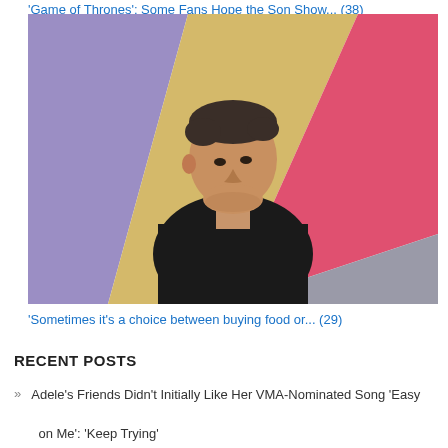'Game of Thrones': Some Fans Hope the Son Show... (38)
[Figure (photo): Man in black turtleneck sweater standing in front of colorful geometric painted wall with purple, yellow, pink, and gray sections]
'Sometimes it's a choice between buying food or... (29)
RECENT POSTS
Adele's Friends Didn't Initially Like Her VMA-Nominated Song 'Easy on Me': 'Keep Trying'